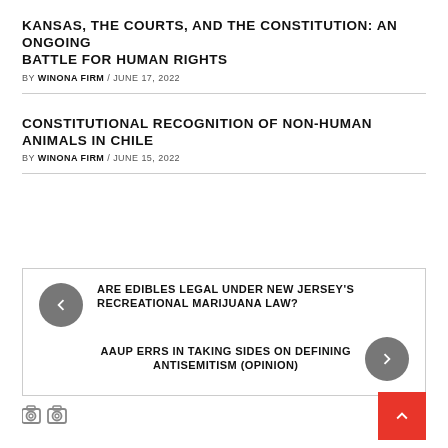KANSAS, THE COURTS, AND THE CONSTITUTION: AN ONGOING BATTLE FOR HUMAN RIGHTS
BY WINONA FIRM / JUNE 17, 2022
CONSTITUTIONAL RECOGNITION OF NON-HUMAN ANIMALS IN CHILE
BY WINONA FIRM / JUNE 15, 2022
ARE EDIBLES LEGAL UNDER NEW JERSEY'S RECREATIONAL MARIJUANA LAW?
AAUP ERRS IN TAKING SIDES ON DEFINING ANTISEMITISM (OPINION)
[Figure (other): Camera icon and scroll-to-top red button]